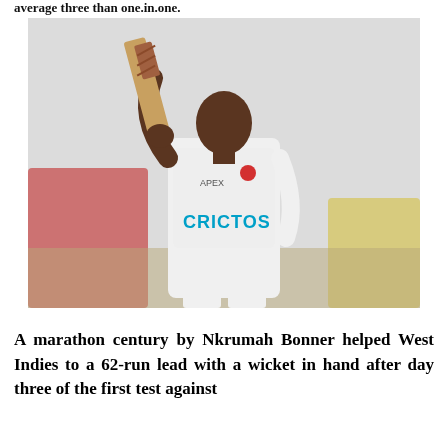average three than one.in.one.
[Figure (photo): A cricket player, Nkrumah Bonner, wearing a white West Indies test cricket uniform with 'CRICTOS' sponsor and 'APEX' logo, holding a cricket bat raised above his head in a celebratory gesture. A red tent/canopy is visible in the blurred background.]
A marathon century by Nkrumah Bonner helped West Indies to a 62-run lead with a wicket in hand after day three of the first test against